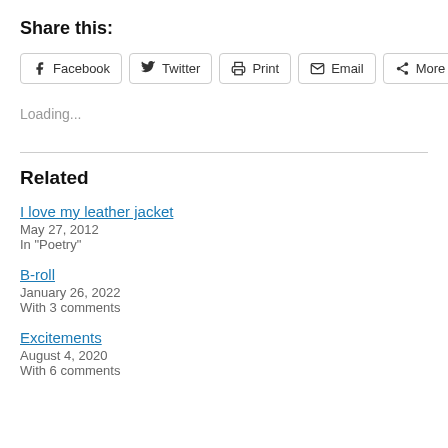Share this:
Facebook  Twitter  Print  Email  More
Loading...
Related
I love my leather jacket
May 27, 2012
In "Poetry"
B-roll
January 26, 2022
With 3 comments
Excitements
August 4, 2020
With 6 comments